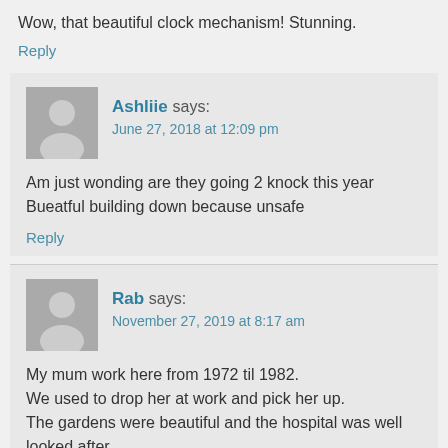Wow, that beautiful clock mechanism! Stunning.
Reply
Ashliie says: June 27, 2018 at 12:09 pm
Am just wonding are they going 2 knock this year Bueatful building down because unsafe
Reply
Rab says: November 27, 2019 at 8:17 am
My mum work here from 1972 til 1982.
We used to drop her at work and pick her up.
The gardens were beautiful and the hospital was well looked after.